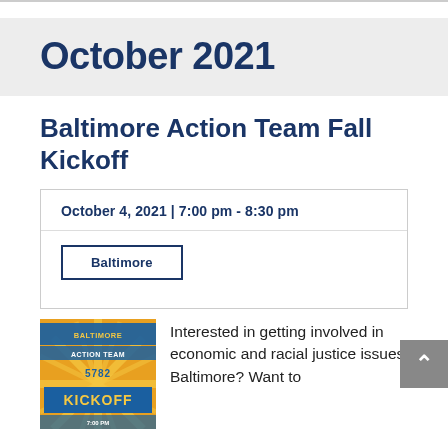October 2021
Baltimore Action Team Fall Kickoff
October 4, 2021 | 7:00 pm - 8:30 pm
Baltimore
[Figure (illustration): Colorful event poster for 'Baltimore Action Team 5782 Kickoff' with sunburst pattern in yellow and blue colors, text styled in retro block letters.]
Interested in getting involved in economic and racial justice issues in Baltimore? Want to